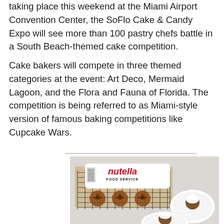taking place this weekend at the Miami Airport Convention Center, the SoFlo Cake & Candy Expo will see more than 100 pastry chefs battle in a South Beach-themed cake competition.
Cake bakers will compete in three themed categories at the event: Art Deco, Mermaid Lagoon, and the Flora and Fauna of Florida. The competition is being referred to as Miami-style version of famous baking competitions like Cupcake Wars.
[Figure (photo): A top-down photo showing a large Nutella Food Service package placed on a wire cooling rack with three Nutella-topped cookies/pastries. Below the rack are two plates with cream-topped desserts on a light gray surface.]